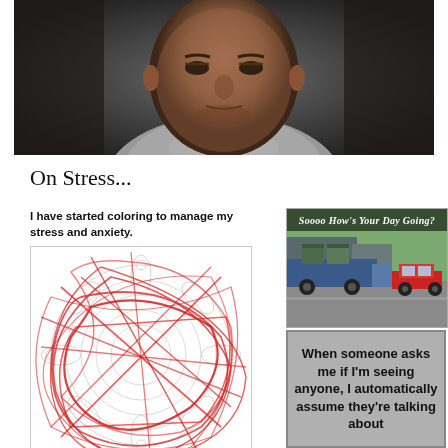[Figure (photo): Close-up photo of a man with a serious/tired expression wearing a grey t-shirt, dark background]
On Stress...
[Figure (photo): Meme image: text 'I have started coloring to manage my stress and anxiety.' above a coloring page scribbled aggressively with red crayon]
[Figure (photo): Meme image: text 'Soooo How's Your Day Going?' over a photo of a truck carrying portable toilets on a highway next to a red car]
[Figure (photo): Meme image with grey background: text 'When someone asks me if I'm seeing anyone, I automatically assume they're talking about']